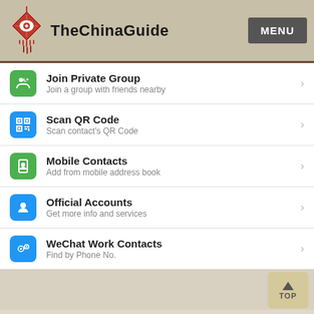TheChinaGuide
Join Private Group
Join a group with friends nearby
Scan QR Code
Scan contact's QR Code
Mobile Contacts
Add from mobile address book
Official Accounts
Get more info and services
WeChat Work Contacts
Find by Phone No.
You can also add a user by scanning a QR code from their phone. To do this, simply select the "Scan QR